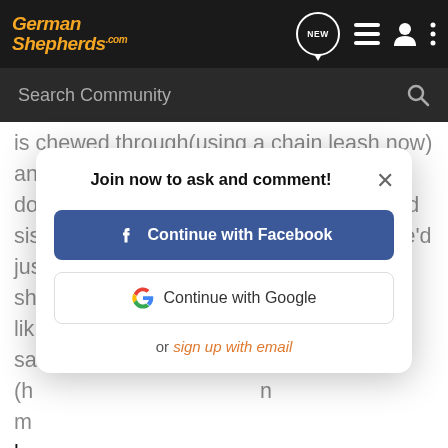GermanShepherds.com — navigation bar with NEW, list, user, and menu icons
Search Community
is chewed through(using a chain leash now) and he just blows up. I have never seen a dog act like this. I can compare it to my kid sisters tantrums when we were small. She'd just lash out at ev
Join now to ask and comment!
Continue with Facebook
Continue with Google
or sign up with email
usually run across a woman walking her brothers husky and she's got him on a flat collar and holds onto the trees to keep her dog from breaking away from her. I know it is scarey to see